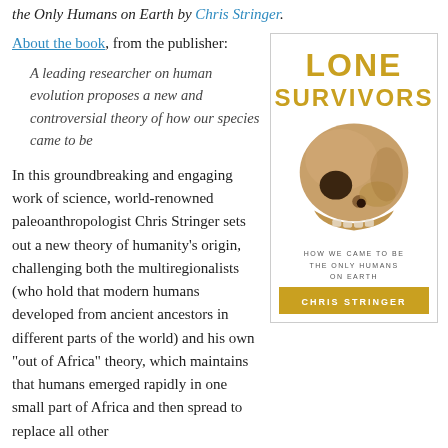the Only Humans on Earth by Chris Stringer.
About the book, from the publisher:
[Figure (illustration): Book cover of 'Lone Survivors: How We Came to Be the Only Humans on Earth' by Chris Stringer, featuring a human skull and gold/yellow title text on a white background with an author name bar in gold.]
A leading researcher on human evolution proposes a new and controversial theory of how our species came to be
In this groundbreaking and engaging work of science, world-renowned paleoanthropologist Chris Stringer sets out a new theory of humanity's origin, challenging both the multiregionalists (who hold that modern humans developed from ancient ancestors in different parts of the world) and his own "out of Africa" theory, which maintains that humans emerged rapidly in one small part of Africa and then spread to replace all other